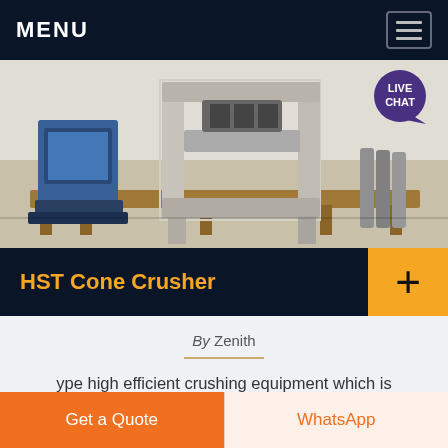MENU
[Figure (photo): Industrial machinery (cone crusher / pressing equipment) on a workshop floor. A large grey metal frame structure is centered, with a blue machine on the left and metal rods on the right. A 'LIVE CHAT' speech bubble overlay appears in the top-right corner.]
HST Cone Crusher
By Zenith
ype high efficient crushing equipment which is developed by our engineers through over 20 year s effort of design, manufacture, sale, and after-sale
Get a Quote
WhatsApp